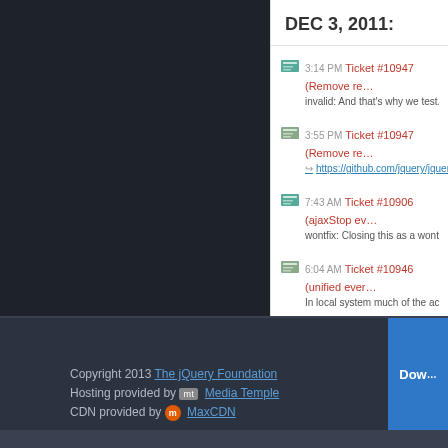DEC 3, 2011:
3:14 PM Ticket #10947 (Remove re... invalid: And that's why we test. :)
3:55 PM Ticket #10947 (Remove re... https://github.com/jquery/jquery...
7:43 AM Ticket #10906 (ajaxStop ev... wontfix: Closing this as a wontfix. Ca...
6:04 AM Ticket #10946 (unified ever... In local system much of the actions e...
Copyright 2013 The jQuery Foundation
Hosting provided by (mt) Media Temple
CDN provided by MaxCDN
Dow...